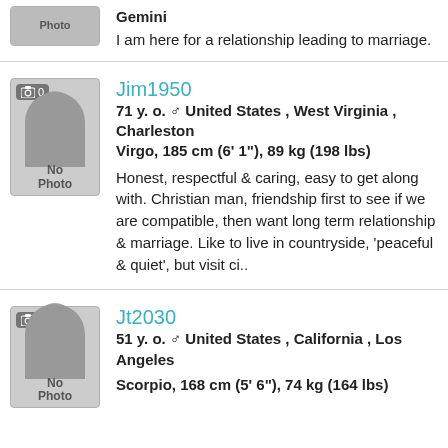Gemini
I am here for a relationship leading to marriage.
Jim1950
71 y. o. ♂ United States , West Virginia , Charleston
Virgo, 185 cm (6' 1"), 89 kg (198 lbs)
Honest, respectful & caring, easy to get along with. Christian man, friendship first to see if we are compatible, then want long term relationship & marriage. Like to live in countryside, 'peaceful & quiet', but visit ci..
Jt2030
51 y. o. ♂ United States , California , Los Angeles
Scorpio, 168 cm (5' 6"), 74 kg (164 lbs)